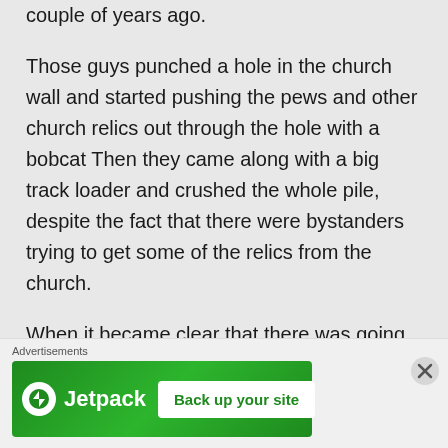couple of years ago.
Those guys punched a hole in the church wall and started pushing the pews and other church relics out through the hole with a bobcat Then they came along with a big track loader and crushed the whole pile, despite the fact that there were bystanders trying to get some of the relics from the church.
When it became clear that there was going to be a court injunction to
Advertisements
[Figure (other): Jetpack advertisement banner with green background showing Jetpack logo and 'Back up your site' button]